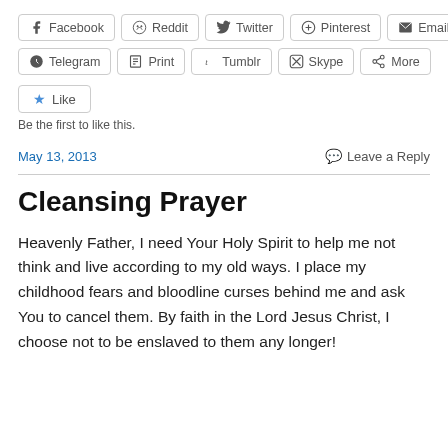[Figure (screenshot): Social media share buttons row 1: Facebook, Reddit, Twitter, Pinterest, Email]
[Figure (screenshot): WordPress Like button with star icon and 'Be the first to like this.' text below]
May 13, 2013    Leave a Reply
Cleansing Prayer
Heavenly Father, I need Your Holy Spirit to help me not think and live according to my old ways. I place my childhood fears and bloodline curses behind me and ask You to cancel them. By faith in the Lord Jesus Christ, I choose not to be enslaved to them any longer!